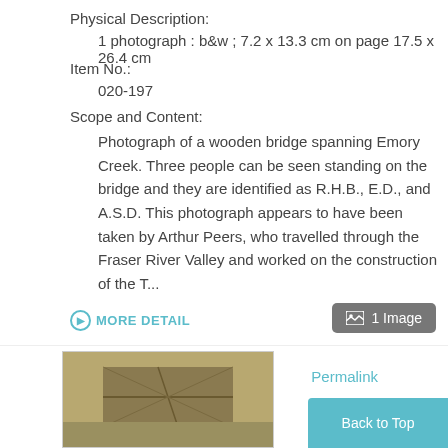Physical Description:
1 photograph : b&w ; 7.2 x 13.3 cm on page 17.5 x 26.4 cm
Item No.:
020-197
Scope and Content:
Photograph of a wooden bridge spanning Emory Creek. Three people can be seen standing on the bridge and they are identified as R.H.B., E.D., and A.S.D. This photograph appears to have been taken by Arthur Peers, who travelled through the Fraser River Valley and worked on the construction of the T...
MORE DETAIL
1 Image
Permalink
[Figure (photo): Black and white photograph showing a wooden bridge, partially visible at bottom of page]